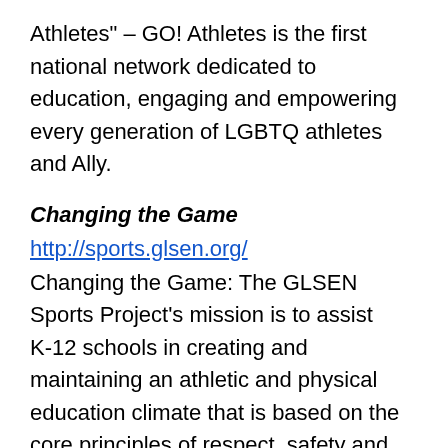Athletes" – GO! Athletes is the first national network dedicated to education, engaging and empowering every generation of LGBTQ athletes and Ally.
Changing the Game
http://sports.glsen.org/
Changing the Game: The GLSEN Sports Project's mission is to assist K-12 schools in creating and maintaining an athletic and physical education climate that is based on the core principles of respect, safety and equal access for all, regardless of sexual orientation or gender identity/expression. The GLSEN Sports Project fills a critical gap and adds a